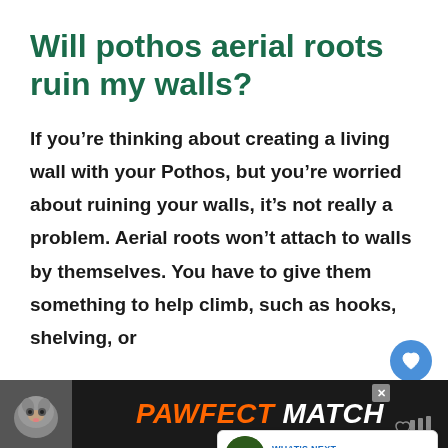Will pothos aerial roots ruin my walls?
If you’re thinking about creating a living wall with your Pothos, but you’re worried about ruining your walls, it’s not really a problem. Aerial roots won’t attach to walls by themselves. You have to give them something to help climb, such as hooks, shelving, or
[Figure (infographic): Ad banner for PAWFECT MATCH with cat image, orange and black background]
[Figure (infographic): What's Next widget showing 9 Simple Steps to Train... with green plant thumbnail]
[Figure (infographic): Heart and share floating UI buttons]